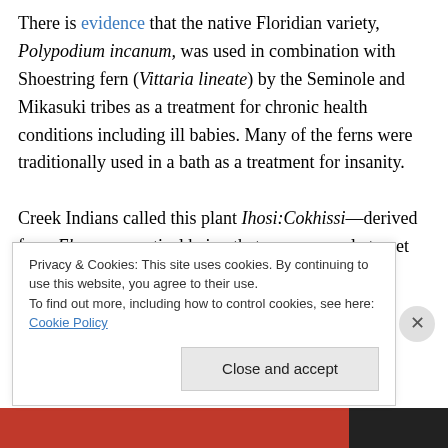There is evidence that the native Floridian variety, Polypodium incanum, was used in combination with Shoestring fern (Vittaria lineate) by the Seminole and Mikasuki tribes as a treatment for chronic health conditions including ill babies. Many of the ferns were traditionally used in a bath as a treatment for insanity.

Creek Indians called this plant Ihosi:Cokhissi—derived from Ehose, a mystical being that causes people to get lost, and kokhesse, meaning whiskers. (This last definition came from Daniel F. Austin's insanely amazing book
Privacy & Cookies: This site uses cookies. By continuing to use this website, you agree to their use.
To find out more, including how to control cookies, see here: Cookie Policy
Close and accept